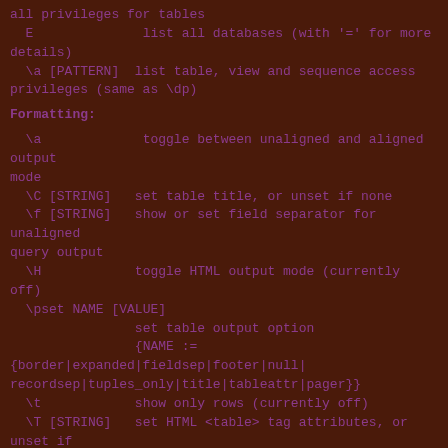all privileges for tables
E              list all databases (with '=' for more details)
\a [PATTERN]  list table, view and sequence access privileges (same as \dp)
Formatting:
\a             toggle between unaligned and aligned output mode
\C [STRING]   set table title, or unset if none
\f [STRING]   show or set field separator for unaligned query output
\H            toggle HTML output mode (currently off)
\pset NAME [VALUE]
                set table output option
                {NAME := {border|expanded|fieldsep|footer|null|
recordsep|tuples_only|title|tableattr|pager}}
\t            show only rows (currently off)
\T [STRING]   set HTML <table> tag attributes, or unset if none
\x            toggle expanded output (currently off)